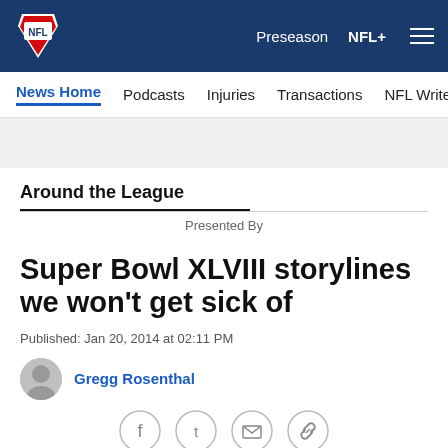NFL | Preseason | NFL+
News Home | Podcasts | Injuries | Transactions | NFL Writers | Se
Around the League
Presented By
Super Bowl XLVIII storylines we won't get sick of
Published: Jan 20, 2014 at 02:11 PM
Gregg Rosenthal